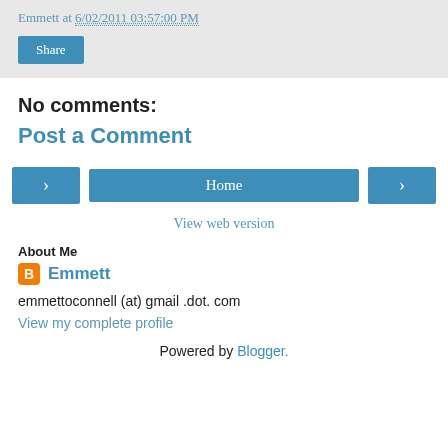Emmett at 6/02/2011 03:57:00 PM
Share
No comments:
Post a Comment
< Home >
View web version
About Me
Emmett
emmettoconnell (at) gmail .dot. com
View my complete profile
Powered by Blogger.